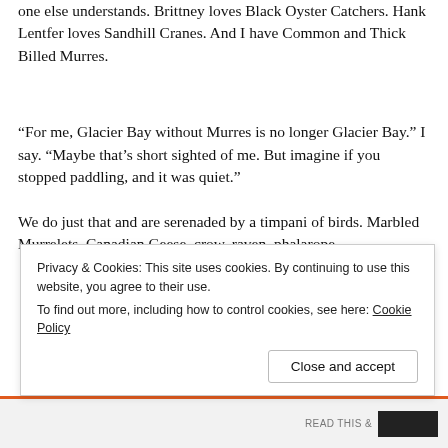one else understands. Brittney loves Black Oyster Catchers. Hank Lentfer loves Sandhill Cranes. And I have Common and Thick Billed Murres.
“For me, Glacier Bay without Murres is no longer Glacier Bay.” I say. “Maybe that’s short sighted of me. But imagine if you stopped paddling, and it was quiet.”
We do just that and are serenaded by a timpani of birds. Marbled Murrelets. Canadian Geese. crow. raven. phalarope.
Privacy & Cookies: This site uses cookies. By continuing to use this website, you agree to their use.
To find out more, including how to control cookies, see here: Cookie Policy
CLOSE AND ACCEPT